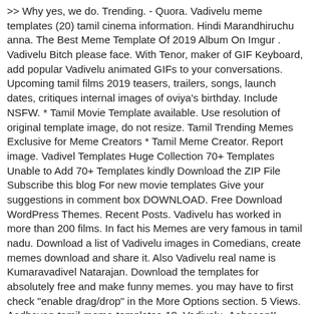>> Why yes, we do. Trending. - Quora. Vadivelu meme templates (20) tamil cinema information. Hindi Marandhiruchu anna. The Best Meme Template Of 2019 Album On Imgur . Vadivelu Bitch please face. With Tenor, maker of GIF Keyboard, add popular Vadivelu animated GIFs to your conversations. Upcoming tamil films 2019 teasers, trailers, songs, launch dates, critiques internal images of oviya's birthday. Include NSFW. * Tamil Movie Template available. Use resolution of original template image, do not resize. Tamil Trending Memes Exclusive for Meme Creators * Tamil Meme Creator. Report image. Vadivel Templates Huge Collection 70+ Templates Unable to Add 70+ Templates kindly Download the ZIP File Subscribe this blog For new movie templates Give your suggestions in comment box DOWNLOAD. Free Download WordPress Themes. Recent Posts. Vadivelu has worked in more than 200 films. In fact his Memes are very famous in tamil nadu. Download a list of Vadivelu images in Comedians, create memes download and share it. Also Vadivelu real name is Kumaravadivel Natarajan. Download the templates for absolutely free and make funny memes. you may have to first check "enable drag/drop" in the More Options section. 5 Views. Aadhavan-tamil-meme-templates-18. Vadivelu- Aahaaan!! Movies like Chandramukhi, Kaalam Maari Pochu, Vetri Kodi Kattu, Friends are one of his best movies. Maruthamalai Meme Templates. Bollywood / Movies. Vadivelu single pic meme templates . 00:30. Actors 18 Views September 29, 2020 . Download Vadivelu comedy images with dialogues. "below current image" setting. Aadhavan-tamil-meme-templates-19 Bollywood Meme Templates View All. Sep 26, 2019 - Explore Edward Jebaraj's board "Vadivelu memes" on Pinterest. Jan 21, 2019 - This Pin was discovered by Puvi. Dec 23, 2017 - Explore VinoRegis's board "Comment images" on Pinterest. It will help the facebook page admins and the Meme creators to get the frequently used meme templates with ease. Big boss Julie